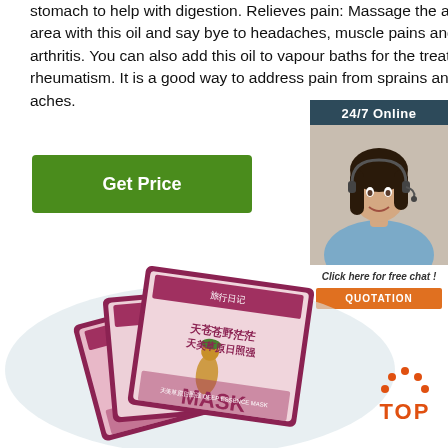stomach to help with digestion. Relieves pain: Massage the affected area with this oil and say bye to headaches, muscle pains and even arthritis. You can also add this oil to vapour baths for the treatment of rheumatism. It is a good way to address pain from sprains and joint aches.
Get Price
[Figure (infographic): 24/7 Online support widget with a woman wearing a headset, 'Click here for free chat!' text, and an orange QUOTATION button]
[Figure (photo): Product photo showing stacked Chinese face mask (MASK) product boxes with pink/maroon coloring and Asian beauty branding]
[Figure (other): TOP badge with orange dots arranged in an arc above the word TOP in orange on white background]